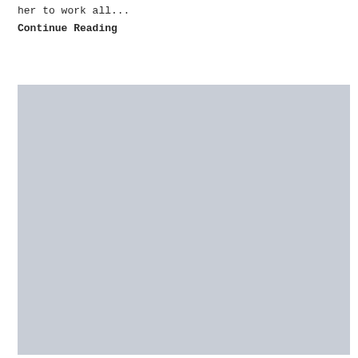her to work all...
Continue Reading
[Figure (photo): Large light gray placeholder image block]